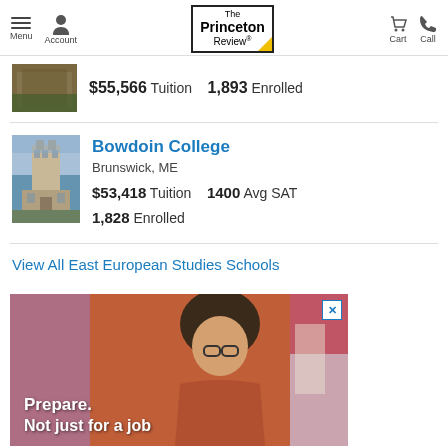The Princeton Review — Menu, Account, Call, Cart
$55,566 Tuition   1,893 Enrolled
Bowdoin College
Brunswick, ME
$53,418 Tuition   1400 Avg SAT
1,828 Enrolled
View All East European Studies Schools
[Figure (photo): Advertisement banner showing a woman with glasses studying at a desk with text 'Prepare. Not just for a job.']